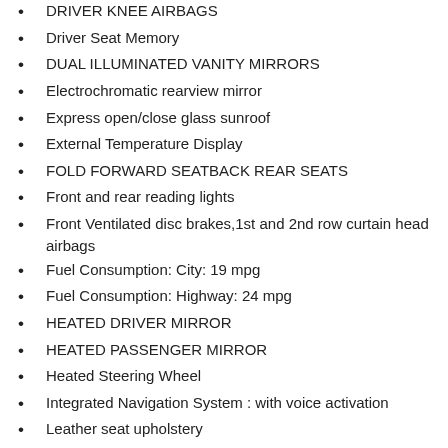DRIVER KNEE AIRBAGS
Driver Seat Memory
DUAL ILLUMINATED VANITY MIRRORS
Electrochromatic rearview mirror
Express open/close glass sunroof
External Temperature Display
FOLD FORWARD SEATBACK REAR SEATS
Front and rear reading lights
Front Ventilated disc brakes,1st and 2nd row curtain head airbags
Fuel Consumption: City: 19 mpg
Fuel Consumption: Highway: 24 mpg
HEATED DRIVER MIRROR
HEATED PASSENGER MIRROR
Heated Steering Wheel
Integrated Navigation System : with voice activation
Leather seat upholstery
Leather steering wheel trim
Memorized settings for 2 drivers